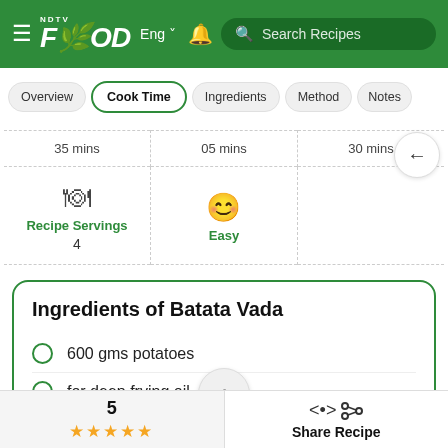NDTV Food | Eng | Search Recipes
Overview | Cook Time | Ingredients | Method | Notes
| 35 mins | 05 mins | 30 mins |
| --- | --- | --- |
| Recipe Servings 4 | Easy |  |
Ingredients of Batata Vada
600 gms potatoes
for deep frying oil
5 ★★★★★ Share Recipe